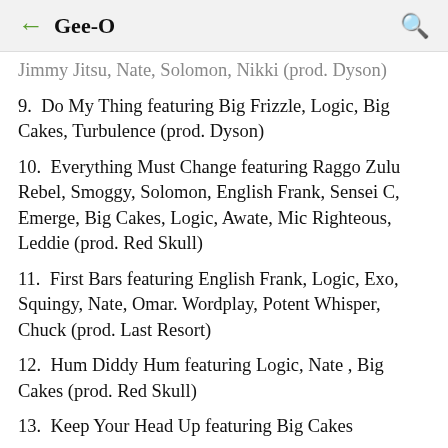Gee-O
Jimmy Jitsu, Nate, Solomon, Nikki (prod. Dyson)
9.  Do My Thing featuring Big Frizzle, Logic, Big Cakes, Turbulence (prod. Dyson)
10.  Everything Must Change featuring Raggo Zulu Rebel, Smoggy, Solomon, English Frank, Sensei C, Emerge, Big Cakes, Logic, Awate, Mic Righteous, Leddie (prod. Red Skull)
11.  First Bars featuring English Frank, Logic, Exo, Squingy, Nate, Omar. Wordplay, Potent Whisper, Chuck (prod. Last Resort)
12.  Hum Diddy Hum featuring Logic, Nate , Big Cakes (prod. Red Skull)
13.  Keep Your Head Up featuring Big Cakes